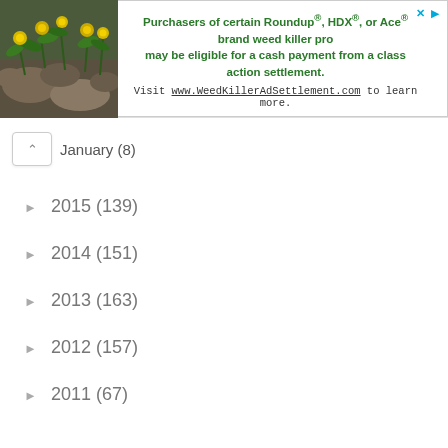[Figure (photo): Photograph of yellow flowers with green leaves on a rocky background, displayed as thumbnail in top-left of ad banner]
Purchasers of certain Roundup®, HDX®, or Ace® brand weed killer pro may be eligible for a cash payment from a class action settlement. Visit www.WeedKillerAdSettlement.com to learn more.
January (8)
2015 (139)
2014 (151)
2013 (163)
2012 (157)
2011 (67)